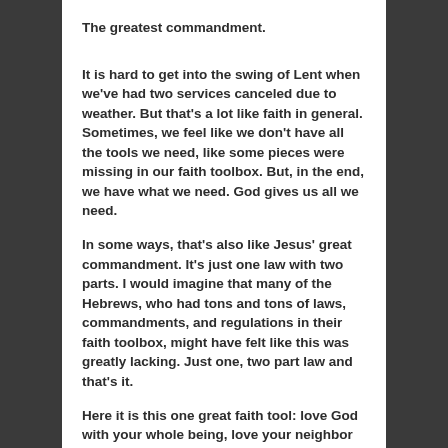The greatest commandment.
It is hard to get into the swing of Lent when we've had two services canceled due to weather. But that's a lot like faith in general. Sometimes, we feel like we don't have all the tools we need, like some pieces were missing in our faith toolbox. But, in the end, we have what we need. God gives us all we need.
In some ways, that's also like Jesus' great commandment. It's just one law with two parts. I would imagine that many of the Hebrews, who had tons and tons of laws, commandments, and regulations in their faith toolbox, might have felt like this was greatly lacking. Just one, two part law and that's it.
Here it is this one great faith tool: love God with your whole being, love your neighbor as yourself.